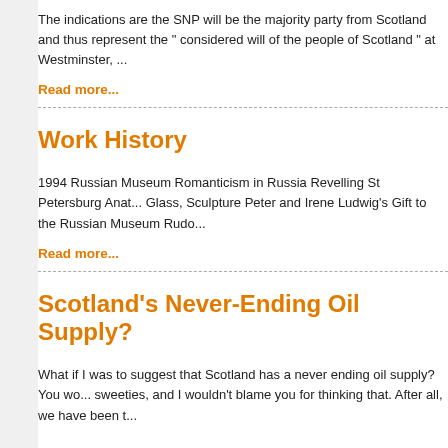The indications are the SNP will be the majority party from Scotland and thus represent the " considered will of the people of Scotland " at Westminster, ...
Read more...
Work History
1994 Russian Museum Romanticism in Russia Revelling St Petersburg Anato... Glass, Sculpture Peter and Irene Ludwig's Gift to the Russian Museum Rudo...
Read more...
Scotland's Never-Ending Oil Supply?
What if I was to suggest that Scotland has a never ending oil supply? You wo... sweeties, and I wouldn't blame you for thinking that. After all, we have been t...